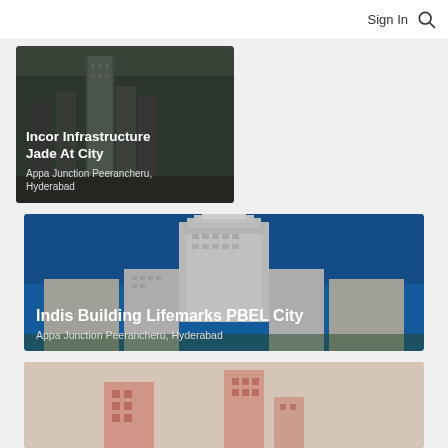Sign In
[Figure (photo): Apartment building complex photo with dark overlay. Title: Incor Infrastructure Jade At City. Location: Appa Junction Peerancheru, Hyderabad]
[Figure (photo): High-rise apartment building against blue sky. Title: Indis Building Lifemarks PBEL City. Location: Appa Junction Peerancheru, Hyderabad]
[Figure (photo): Building complex, partially visible, muted tones.]